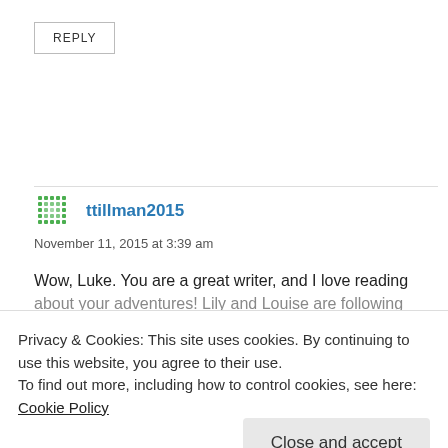REPLY
ttillman2015
November 11, 2015 at 3:39 am
Wow, Luke. You are a great writer, and I love reading about your adventures! Lily and Louise are following
Privacy & Cookies: This site uses cookies. By continuing to use this website, you agree to their use.
To find out more, including how to control cookies, see here: Cookie Policy
Close and accept